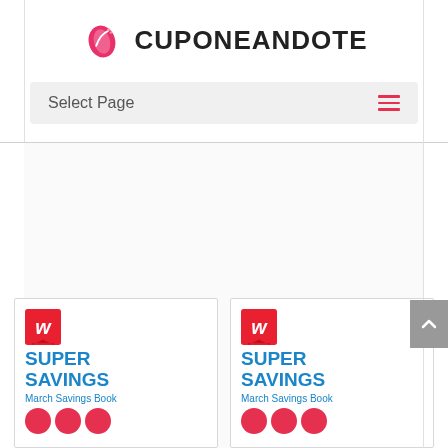[Figure (logo): Cuponeandote logo with pink flame/leaf icon and bold text CUPONEANDOTE]
Select Page
[Figure (illustration): Two Walgreens Super Savings March Savings Book coupon booklet cards side by side, partially visible at bottom of page]